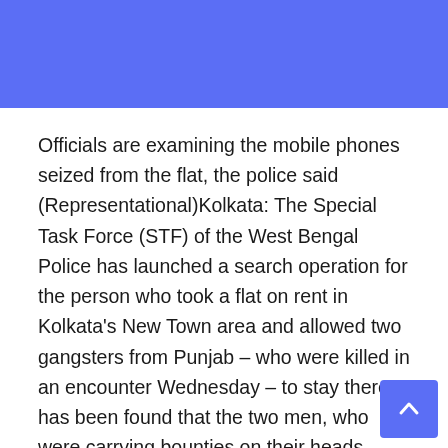[Figure (other): Blue header banner at the top of the page]
Officials are examining the mobile phones seized from the flat, the police said (Representational)Kolkata: The Special Task Force (STF) of the West Bengal Police has launched a search operation for the person who took a flat on rent in Kolkata's New Town area and allowed two gangsters from Punjab – who were killed in an encounter Wednesday – to stay there.It has been found that the two men, who were carrying bounties on their heads, came to Kolkata last month from Madhya Pradesh's Gwalior in a high-end SUV
[Figure (other): Scroll-to-top button with upward chevron arrow, blue background, bottom right corner]